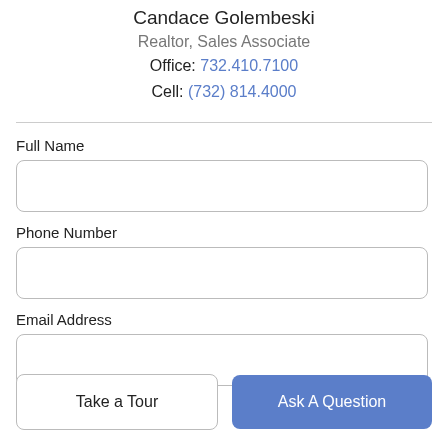Candace Golembeski
Realtor, Sales Associate
Office: 732.410.7100
Cell: (732) 814.4000
Full Name
Phone Number
Email Address
Take a Tour
Ask A Question